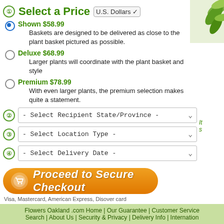1 Select a Price  U.S. Dollars
Shown $58.99 - Baskets are designed to be delivered as close to the plant basket pictured as possible.
Deluxe $68.99 - Larger plants will coordinate with the plant basket and style
Premium $78.99 - With even larger plants, the premium selection makes quite a statement.
2 - Select Recipient State/Province -
3 - Select Location Type -
4 - Select Delivery Date -
[Figure (other): Proceed to Secure Checkout button (orange rounded rectangle with shopping cart icon)]
Visa, Mastercard, American Express, Disover card
Flowers Oakland .com Home | Our Guarantee | Customer Service | Search | About Us | Security & Privacy | Delivery Info | Internation